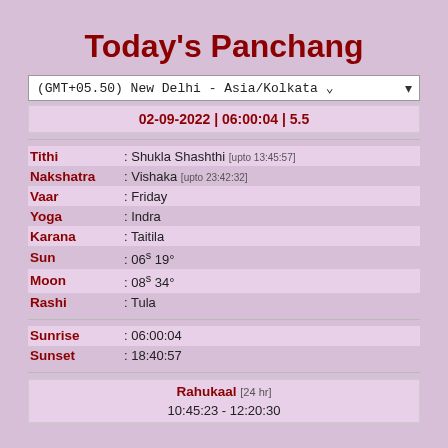Today's Panchang
(GMT+05.50) New Delhi - Asia/Kolkata
02-09-2022 | 06:00:04 | 5.5
| Field | Value |
| --- | --- |
| Tithi | Shukla Shashthi [upto 13:45:57] |
| Nakshatra | Vishaka [upto 23:42:32] |
| Vaar | Friday |
| Yoga | Indra |
| Karana | Taitila |
| Sun | : 06⁵ 19° |
| Moon | : 08⁵ 34° |
| Rashi | Tula |
| Field | Value |
| --- | --- |
| Sunrise | 06:00:04 |
| Sunset | 18:40:57 |
Rahukaal [24 hr]
10:45:23 - 12:20:30